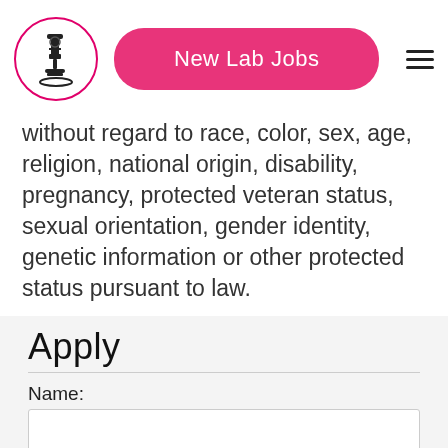[Figure (logo): Circular logo with microscope icon, pink border]
New Lab Jobs
without regard to race, color, sex, age, religion, national origin, disability, pregnancy, protected veteran status, sexual orientation, gender identity, genetic information or other protected status pursuant to law.
Apply
Name:
Email Address: